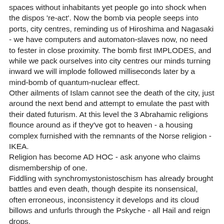spaces without inhabitants yet people go into shock when the dispos 're-act'. Now the bomb via people seeps into ports, city centres, reminding us of Hiroshima and Nagasaki - we have computers and automaton-slaves now, no need to fester in close proximity. The bomb first IMPLODES, and while we pack ourselves into city centres our minds turning inward we will implode followed milliseconds later by a mind-bomb of quantum-nuclear effect.
Other ailments of Islam cannot see the death of the city, just around the next bend and attempt to emulate the past with their dated futurism. At this level the 3 Abrahamic religions flounce around as if they've got to heaven - a housing complex furnished with the remnants of the Norse religion - IKEA.
Religion has become AD HOC - ask anyone who claims dismembership of one.
Fiddling with synchromystonistoschism has already brought battles and even death, though despite its nonsensical, often erroneous, inconsistency it develops and its cloud billows and unfurls through the Pskyche - all Hail and reign drops.
The ZOMBIES wallow in the past , the new DICTATORS predict the future